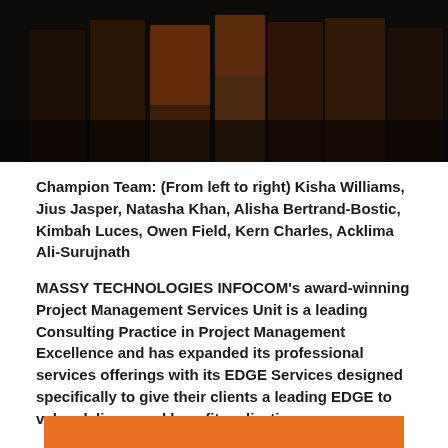[Figure (photo): Group photo of Champion Team members standing together against a dark background]
Champion Team: (From left to right) Kisha Williams, Jius Jasper, Natasha Khan, Alisha Bertrand-Bostic, Kimbah Luces, Owen Field, Kern Charles, Acklima Ali-Surujnath
MASSY TECHNOLOGIES INFOCOM's award-winning Project Management Services Unit is a leading Consulting Practice in Project Management Excellence and has expanded its professional services offerings with its EDGE Services designed specifically to give their clients a leading EDGE to value delivery and benefit realization.
For further insights contact edge@massytechnologies.com
[Figure (other): Orange rectangular banner bar at the bottom of the page]